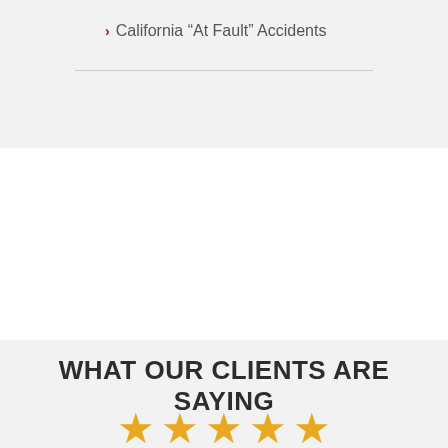California “At Fault” Accidents
WHAT OUR CLIENTS ARE SAYING
[Figure (illustration): Five gold/orange star rating icons arranged in a row]